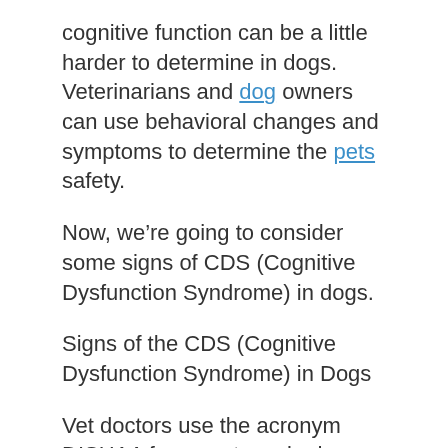cognitive function can be a little harder to determine in dogs. Veterinarians and dog owners can use behavioral changes and symptoms to determine the pets safety.
Now, we’re going to consider some signs of CDS (Cognitive Dysfunction Syndrome) in dogs.
Signs of the CDS (Cognitive Dysfunction Syndrome) in Dogs
Vet doctors use the acronym DISHAA for symptoms in dogs that will help them diagnose CDS.
DISHAA